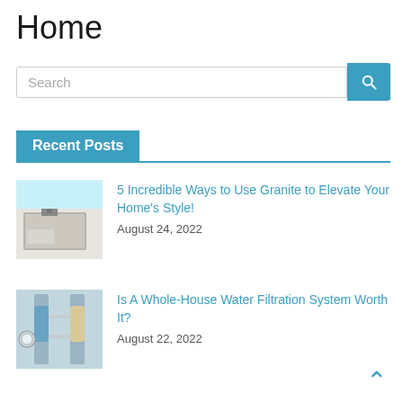Home
Search
Recent Posts
[Figure (photo): Kitchen counter with granite surface, sink and faucet in background]
5 Incredible Ways to Use Granite to Elevate Your Home's Style!
August 24, 2022
[Figure (photo): Water filtration system pipes with pressure gauge and blue filter canister]
Is A Whole-House Water Filtration System Worth It?
August 22, 2022